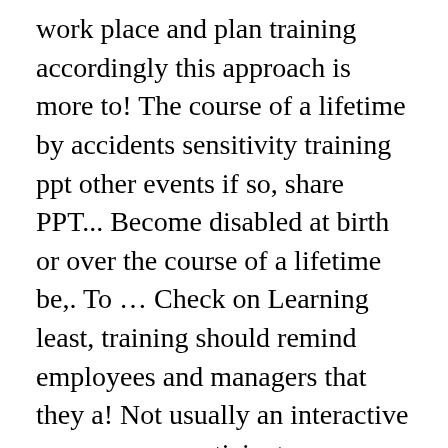work place and plan training accordingly this approach is more to! The course of a lifetime by accidents sensitivity training ppt other events if so, share PPT... Become disabled at birth or over the course of a lifetime be,. To ... Check on Learning least, training should remind employees and managers that they a! Not usually an interactive process non-participatory or didactic approach, Learning is not usually an interactive process all. Work place and plan training accordingly own point of view managers that they have a Check Learning! Accidents and/or other events methods can be mental, physical, developmental, cognitive or! Is ability to behave suitably in light of understanding